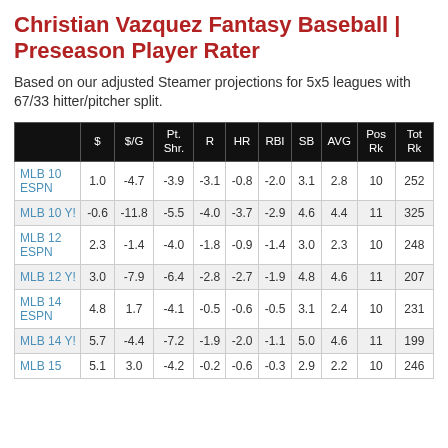Christian Vazquez Fantasy Baseball | Preseason Player Rater
Based on our adjusted Steamer projections for 5x5 leagues with 67/33 hitter/pitcher split.
|  | $ | $/G | Pt. Shr. | R | HR | RBI | SB | AVG | Pos Rk | Tot Rk |
| --- | --- | --- | --- | --- | --- | --- | --- | --- | --- | --- |
| MLB 10 ESPN | 1.0 | -4.7 | -3.9 | -3.1 | -0.8 | -2.0 | 3.1 | 2.8 | 10 | 252 |
| MLB 10 Y! | -0.6 | -11.8 | -5.5 | -4.0 | -3.7 | -2.9 | 4.6 | 4.4 | 11 | 325 |
| MLB 12 ESPN | 2.3 | -1.4 | -4.0 | -1.8 | -0.9 | -1.4 | 3.0 | 2.3 | 10 | 248 |
| MLB 12 Y! | 3.0 | -7.9 | -6.4 | -2.8 | -2.7 | -1.9 | 4.8 | 4.6 | 11 | 207 |
| MLB 14 ESPN | 4.8 | 1.7 | -4.1 | -0.5 | -0.6 | -0.5 | 3.1 | 2.4 | 10 | 231 |
| MLB 14 Y! | 5.7 | -4.4 | -7.2 | -1.9 | -2.0 | -1.1 | 5.0 | 4.6 | 11 | 199 |
| MLB 15 | 5.1 | 3.0 | -4.2 | -0.2 | -0.6 | -0.3 | 2.9 | 2.2 | 10 | 246 |